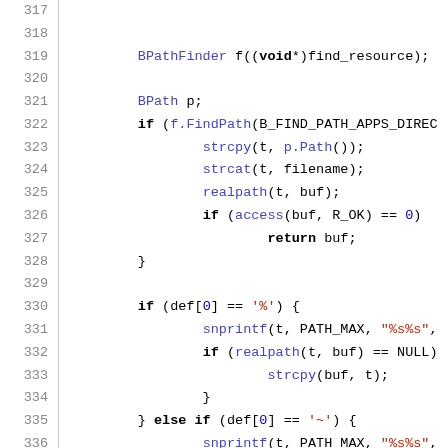[Figure (screenshot): Source code listing (C/C++) with line numbers 317–346, showing BPathFinder usage, path finding logic with if/else branches using strcpy, strcat, realpath, access, snprintf functions.]